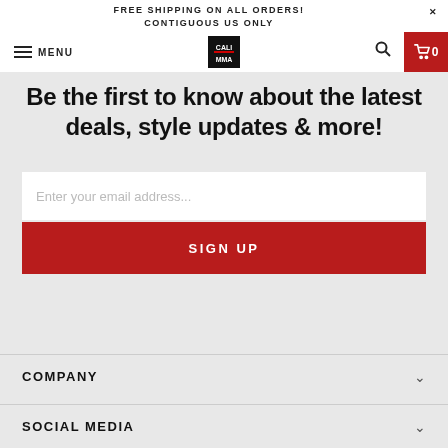FREE SHIPPING ON ALL ORDERS! CONTIGUOUS US ONLY
MENU
[Figure (logo): Cali MMA logo - black and white graphic]
Be the first to know about the latest deals, style updates & more!
Enter your email address...
SIGN UP
COMPANY
SOCIAL MEDIA